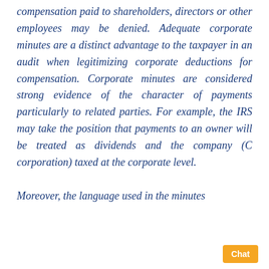compensation paid to shareholders, directors or other employees may be denied. Adequate corporate minutes are a distinct advantage to the taxpayer in an audit when legitimizing corporate deductions for compensation. Corporate minutes are considered strong evidence of the character of payments particularly to related parties. For example, the IRS may take the position that payments to an owner will be treated as dividends and the company (C corporation) taxed at the corporate level.

Moreover, the language used in the minutes